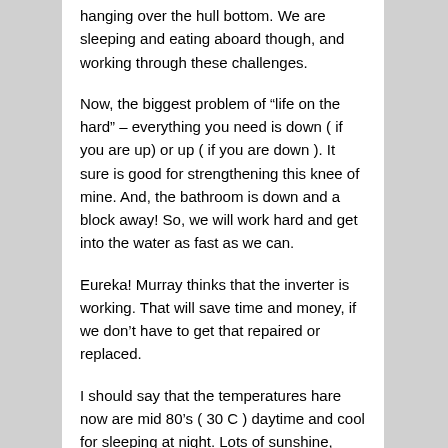hanging over the hull bottom. We are sleeping and eating aboard though, and working through these challenges.
Now, the biggest problem of “life on the hard” – everything you need is down ( if you are up) or up ( if you are down ). It sure is good for strengthening this knee of mine. And, the bathroom is down and a block away! So, we will work hard and get into the water as fast as we can.
Eureka! Murray thinks that the inverter is working. That will save time and money, if we don’t have to get that repaired or replaced.
I should say that the temperatures hare now are mid 80’s ( 30 C ) daytime and cool for sleeping at night. Lots of sunshine, except today it is raining.